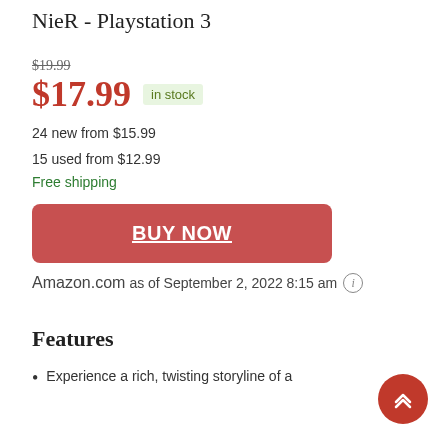NieR - Playstation 3
$19.99 (strikethrough)
$17.99  in stock
24 new from $15.99
15 used from $12.99
Free shipping
BUY NOW
Amazon.com
as of September 2, 2022 8:15 am (i)
Features
Experience a rich, twisting storyline of a